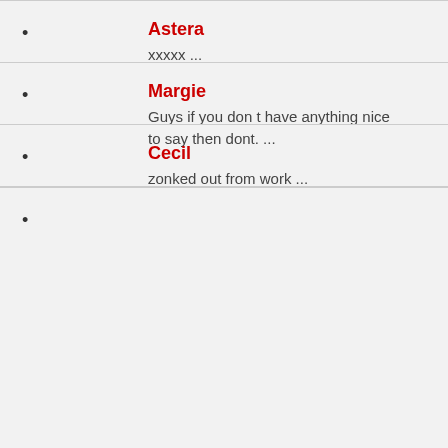Astera
xxxxx ...
Margie
Guys if you don t have anything nice to say then dont. ...
Cecil
zonked out from work ...